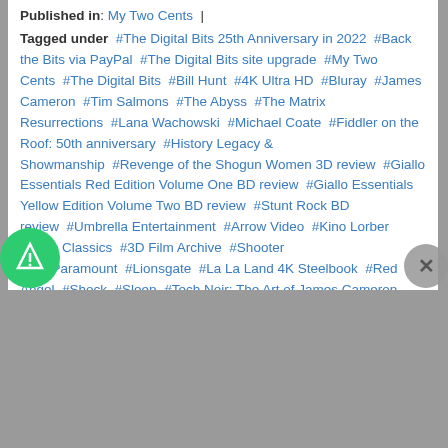Published in: My Two Cents |
Tagged under  #The Digital Bits 25th Anniversary in 2022  #Back the Bits via PayPal  #The Digital Bits site upgrade  #My Two Cents  #The Digital Bits  #Bill Hunt  #4K Ultra HD  #Bluray  #James Cameron  #Tim Salmons  #The Abyss  #The Matrix Resurrections  #Lana Wachowski  #Michael Coate  #Fiddler on the Roof: 50th anniversary  #History Legacy & Showmanship  #Revenge of the Shogun Women 3D review  #Giallo Essentials Red Edition Volume One BD review  #Giallo Essentials Yellow Edition Volume Two BD review  #Stunt Rock BD review  #Umbrella Entertainment  #Arrow Video  #Kino Lorber Studio Classics  #3D Film Archive  #Shooter 4K  #Paramount  #Lionsgate  #La La Land 4K Steelbook  #Red Angel  #Shock  #Sleep  #Tech Noir: The Art of James Cameron book
READ MORE >>